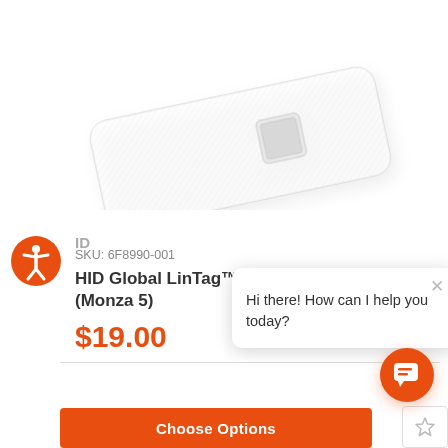[Figure (photo): White rectangular RFID tag/label with textured surface and a small square NFC chip visible in the center-right area, photographed on white background]
[Figure (other): Orange circular accessibility icon button with person/human symbol in white]
SKU: 6F8990-001
HID Global LinTag™ Tag (Monza 5)
$19.00
[Figure (other): Orange WiFi/wireless signal icon]
Hi there! How can I help you today?
[Figure (other): Orange circular chat/speech bubble icon button]
Choose Options